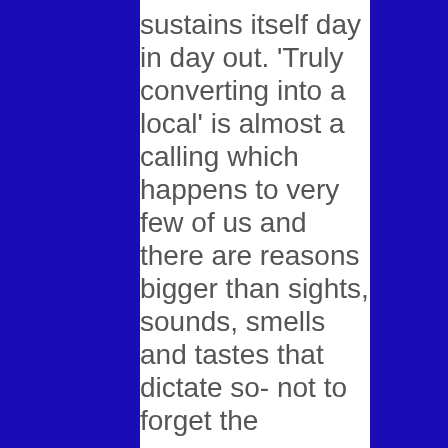sustains itself day in day out. 'Truly converting into a local' is almost a calling which happens to very few of us and there are reasons bigger than sights, sounds, smells and tastes that dictate so- not to forget the